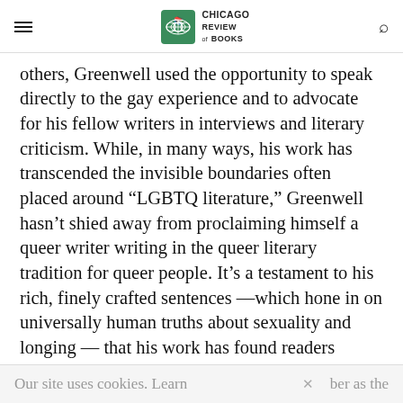Chicago Review of Books
others, Greenwell used the opportunity to speak directly to the gay experience and to advocate for his fellow writers in interviews and literary criticism. While, in many ways, his work has transcended the invisible boundaries often placed around “LGBTQ literature,” Greenwell hasn’t shied away from proclaiming himself a queer writer writing in the queer literary tradition for queer people. It’s a testament to his rich, finely crafted sentences ––which hone in on universally human truths about sexuality and longing –– that his work has found readers across all demographics.
Our site uses cookies. Learn…